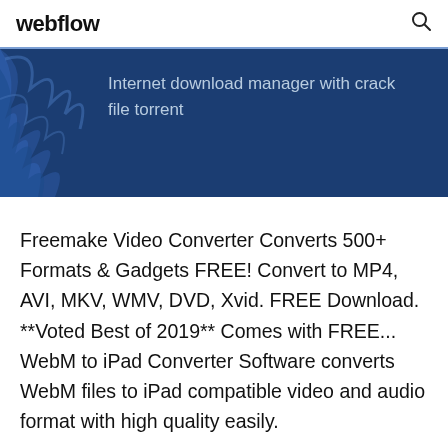webflow
[Figure (illustration): Dark blue banner with decorative bird silhouette on left and text 'Internet download manager with crack file torrent' in light blue-gray color]
Freemake Video Converter Converts 500+ Formats & Gadgets FREE! Convert to MP4, AVI, MKV, WMV, DVD, Xvid. FREE Download. **Voted Best of 2019** Comes with FREE... WebM to iPad Converter Software converts WebM files to iPad compatible video and audio format with high quality easily.